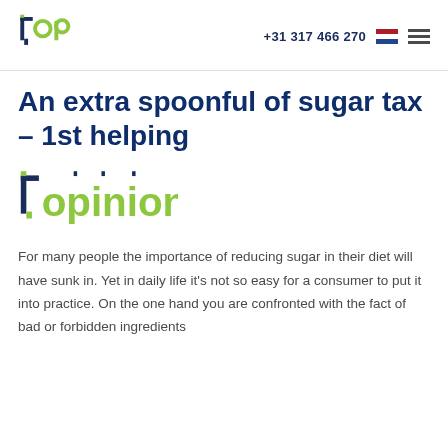+31 317 466 270
[Figure (logo): TOP logo in dark blue and lime green]
An extra spoonful of sugar tax – 1st helping
[Figure (logo): topinion logo in dark navy and lime green]
For many people the importance of reducing sugar in their diet will have sunk in. Yet in daily life it's not so easy for a consumer to put it into practice. On the one hand you are confronted with the fact of bad or forbidden ingredients